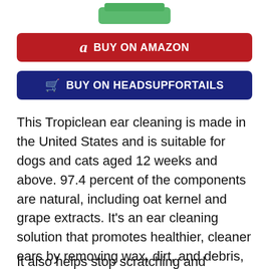[Figure (photo): Partial view of a product bottle with a green cap at the top of the page]
a  BUY ON AMAZON
🛒  BUY ON HEADSUPFORTAILS
This Tropiclean ear cleaning is made in the United States and is suitable for dogs and cats aged 12 weeks and above. 97.4 percent of the components are natural, including oat kernel and grape extracts. It's an ear cleaning solution that promotes healthier, cleaner ears by removing wax, dirt, and debris, which can cause infection and inflammation.
It also helps stop scratching and provides